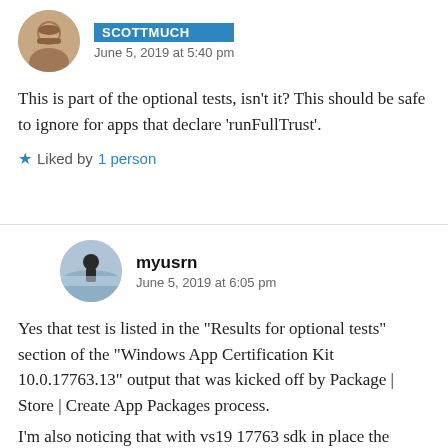[Figure (photo): Circular avatar of a bearded man smiling, brownish tones]
June 5, 2019 at 5:40 pm
This is part of the optional tests, isn’t it? This should be safe to ignore for apps that declare ‘runFullTrust’.
★ Liked by 1 person
[Figure (photo): Circular avatar of a person silhouetted against a cloudy sky over water]
myusrn
June 5, 2019 at 6:05 pm
Yes that test is listed in the “Results for optional tests” section of the “Windows App Certification Kit 10.0.17763.13” output that was kicked off by Package | Store | Create App Packages process.
I’m also noticing that with vs19 17763 sdk in place the “Windows App Certification Kit 10.0.17763.13”